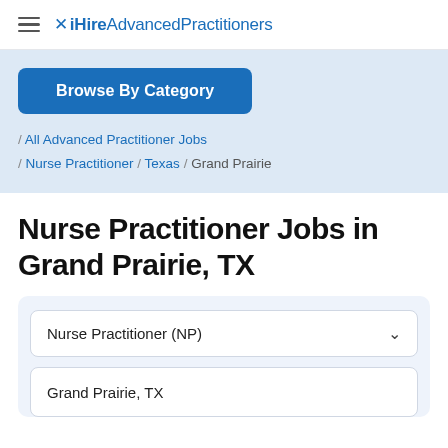iHireAdvancedPractitioners
Browse By Category
/ All Advanced Practitioner Jobs / Nurse Practitioner / Texas / Grand Prairie
Nurse Practitioner Jobs in Grand Prairie, TX
Nurse Practitioner (NP)
Grand Prairie, TX